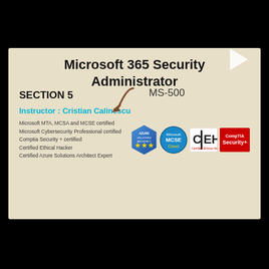Microsoft 365 Security Administrator MS-500
SECTION 5
Instructor : Cristian Calinescu
Microsoft MTA, MCSA and MCSE certified
Microsoft Cybersecurity Professional certified
Comptia Security + certified
Certified Ethical Hacker
Certified Azure Solutions Architect Expert
[Figure (screenshot): Video thumbnail showing Microsoft 365 Security Administrator MS-500 course, Section 5, with instructor Cristian Calinescu and certification badges for Azure Solutions Architect, MCSE, CEH, and CompTIA Security+]